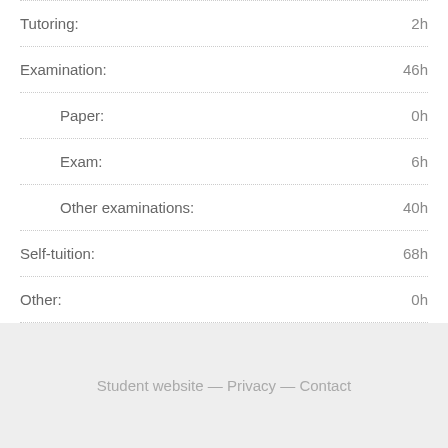Tutoring: 2h
Examination: 46h
Paper: 0h
Exam: 6h
Other examinations: 40h
Self-tuition: 68h
Other: 0h
Student website — Privacy — Contact